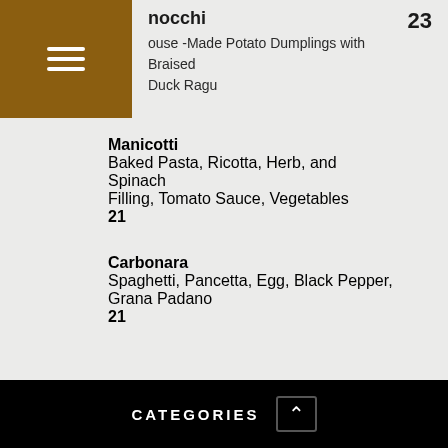Gnocchi — 23 — House-Made Potato Dumplings with Braised Duck Ragu
Manicotti — 21 — Baked Pasta, Ricotta, Herb, and Spinach Filling, Tomato Sauce, Vegetables
Carbonara — 21 — Spaghetti, Pancetta, Egg, Black Pepper, Grana Padano
SECONDI
Melanzane — 20 — Eggplant P... Mozzarella...
CATEGORIES